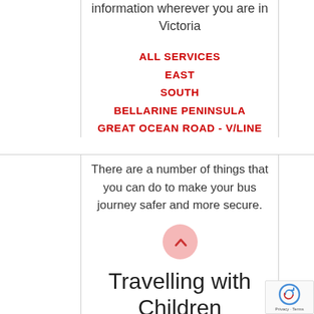information wherever you are in Victoria
ALL SERVICES
EAST
SOUTH
BELLARINE PENINSULA
GREAT OCEAN ROAD - V/LINE
There are a number of things that you can do to make your bus journey safer and more secure.
[Figure (illustration): Pink circular icon with arrow/chevron symbol]
Travelling with Children